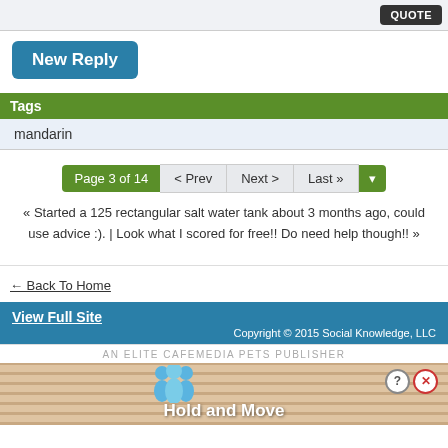QUOTE
New Reply
Tags
mandarin
Page 3 of 14  < Prev  Next >  Last »
« Started a 125 rectangular salt water tank about 3 months ago, could use advice :). | Look what I scored for free!! Do need help though!! »
← Back To Home
View Full Site
Copyright © 2015 Social Knowledge, LLC
AN ELITE CAFEMEDIA PETS PUBLISHER
[Figure (screenshot): Advertisement banner showing blue cartoon figures and text 'Hold and Move' with help and close icons]